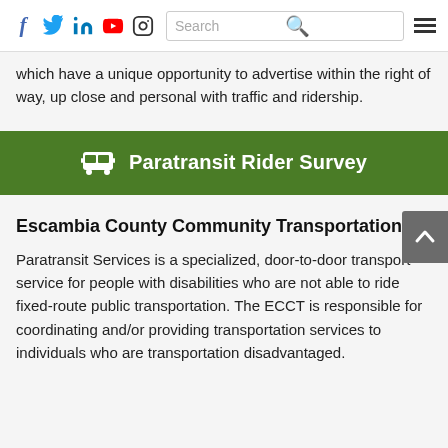Social icons: f, Twitter, LinkedIn, YouTube, Instagram | Search bar | Menu
which have a unique opportunity to advertise within the right of way, up close and personal with traffic and ridership.
[Figure (infographic): Green banner button with bus icon and text: Paratransit Rider Survey]
Escambia County Community Transportation
Paratransit Services is a specialized, door-to-door transport service for people with disabilities who are not able to ride fixed-route public transportation. The ECCT is responsible for coordinating and/or providing transportation services to individuals who are transportation disadvantaged.